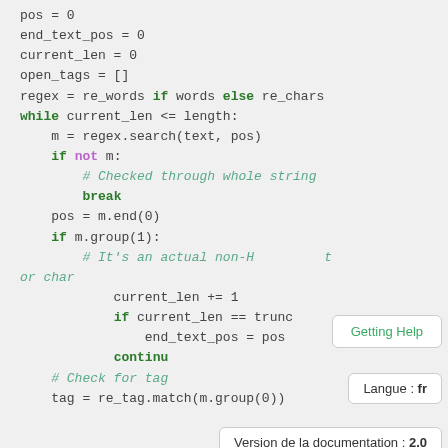pos = 0
end_text_pos = 0
current_len = 0
open_tags = []

regex = re_words if words else re_chars

while current_len <= length:
    m = regex.search(text, pos)
    if not m:
        # Checked through whole string
        break
    pos = m.end(0)
    if m.group(1):
        # It's an actual non-HTML word or char
        current_len += 1
        if current_len == trunc
            end_text_pos = pos
        continu
    # Check for tag
    tag = re_tag.match(m.group(0))
[Figure (screenshot): Three tooltip/popup overlays on a documentation page: 'Getting Help' button in teal, 'Langue : fr' label, and 'Version de la documentation : 2.0' label]